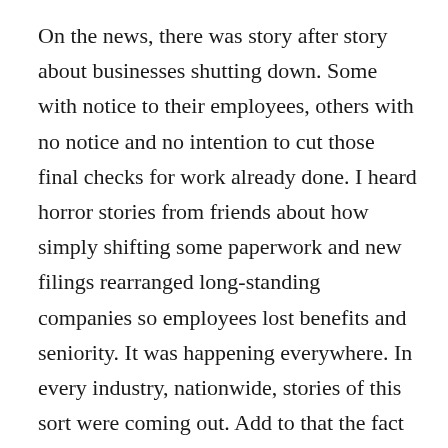On the news, there was story after story about businesses shutting down. Some with notice to their employees, others with no notice and no intention to cut those final checks for work already done. I heard horror stories from friends about how simply shifting some paperwork and new filings rearranged long-standing companies so employees lost benefits and seniority. It was happening everywhere. In every industry, nationwide, stories of this sort were coming out. Add to that the fact that even responsible people were losing their homes to foreclosure and retirement accounts were slashed almost overnight, it was frightening.